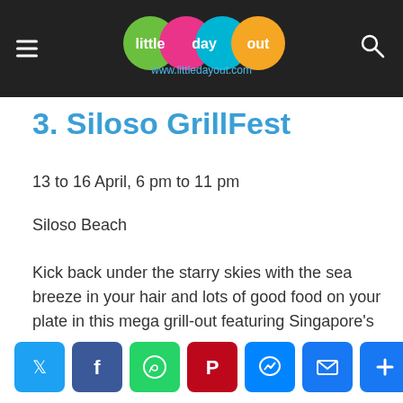Little Day Out — www.littledayout.com
3. Siloso GrillFest
13 to 16 April, 6 pm to 11 pm
Siloso Beach
Kick back under the starry skies with the sea breeze in your hair and lots of good food on your plate in this mega grill-out featuring Singapore's longest BBQ pit. Find out more.